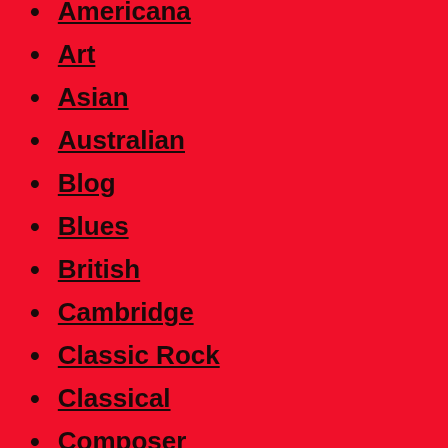Americana
Art
Asian
Australian
Blog
Blues
British
Cambridge
Classic Rock
Classical
Composer
Country
Country-Rock
Dance
Death Metal
Disco
Dub